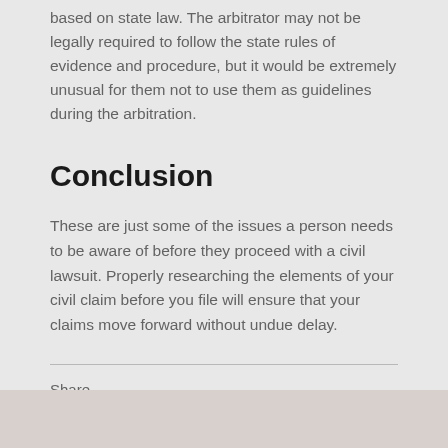based on state law. The arbitrator may not be legally required to follow the state rules of evidence and procedure, but it would be extremely unusual for them not to use them as guidelines during the arbitration.
Conclusion
These are just some of the issues a person needs to be aware of before they proceed with a civil lawsuit. Properly researching the elements of your civil claim before you file will ensure that your claims move forward without undue delay.
Share